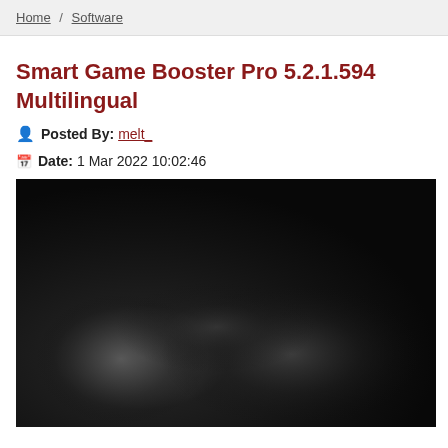Home / Software
Smart Game Booster Pro 5.2.1.594 Multilingual
Posted By: melt_
Date: 1 Mar 2022 10:02:46
[Figure (screenshot): Dark blurred screenshot of Smart Game Booster Pro software interface with black background and subtle grey gradients]